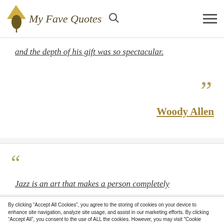My Fave Quotes
and the depth of his gift was so spectacular.
Woody Allen
Jazz is an art that makes a person completely
By clicking “Accept All Cookies”, you agree to the storing of cookies on your device to enhance site navigation, analyze site usage, and assist in our marketing efforts. By clicking “Accept All”, you consent to the use of ALL the cookies. However, you may visit "Cookie Settings" to provide a controlled consent.